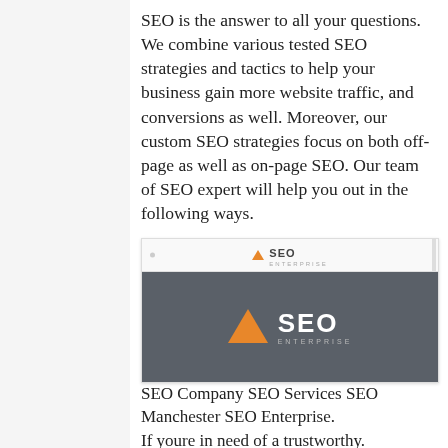SEO is the answer to all your questions. We combine various tested SEO strategies and tactics to help your business gain more website traffic, and conversions as well. Moreover, our custom SEO strategies focus on both off-page as well as on-page SEO. Our team of SEO expert will help you out in the following ways.
[Figure (screenshot): Screenshot of SEO Enterprise website showing the SEO Enterprise logo (orange triangle with 'SEO ENTERPRISE' text) on a dark grey background, with a browser chrome bar at the top.]
SEO Company SEO Services SEO Manchester SEO Enterprise.
If youre in need of a trustworthy.
Founder of Quote Goat. We've'